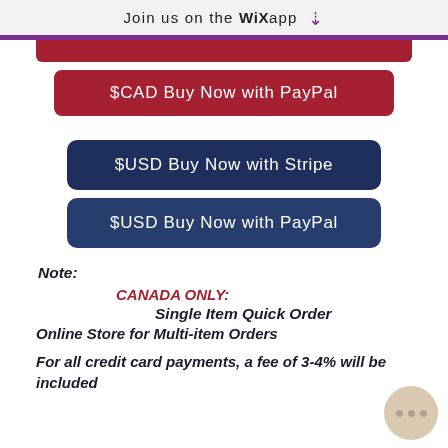Join us on the WiX app ⬇
$CAD Buy Now with PayPal
$USD Buy Now with Stripe
$USD Buy Now with PayPal
Note:
CANADA ONLY:
Single Item Quick Order
Online Store for Multi-item Orders
For all credit card payments, a fee of 3-4% will be included